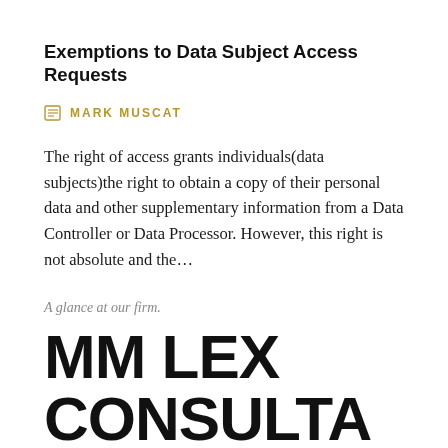Exemptions to Data Subject Access Requests
MARK MUSCAT
The right of access grants individuals(data subjects)the right to obtain a copy of their personal data and other supplementary information from a Data Controller or Data Processor. However, this right is not absolute and the…
A glance at our firm.
MM LEX CONSULTA